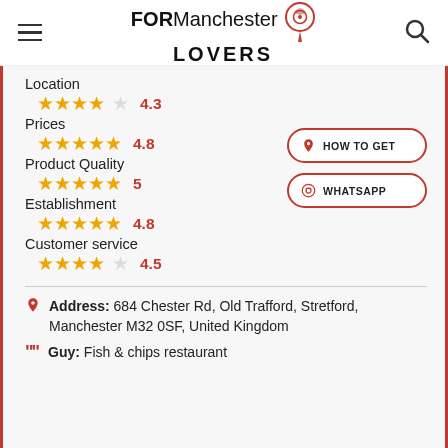FOR Manchester LOVERS
Location 4.3
Prices 4.8
Product Quality 5
Establishment 4.8
Customer service 4.5
HOW TO GET
WHATSAPP
Address: 684 Chester Rd, Old Trafford, Stretford, Manchester M32 0SF, United Kingdom
Guy: Fish & chips restaurant